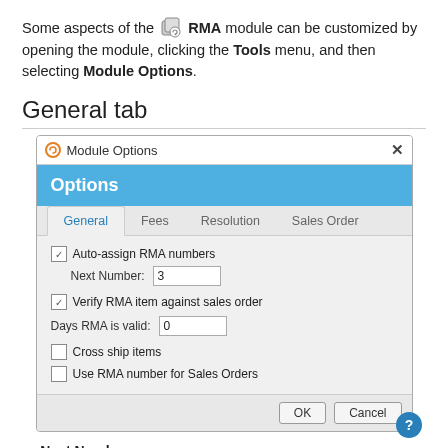Some aspects of the RMA module can be customized by opening the module, clicking the Tools menu, and then selecting Module Options.
General tab
[Figure (screenshot): Module Options dialog window showing the General tab with options: Auto-assign RMA numbers (checked, Next Number: 3), Verify RMA item against sales order (checked), Days RMA is valid: 0, Cross ship items (unchecked), Use RMA number for Sales Orders (unchecked). OK and Cancel buttons at bottom. Tabs: General (active), Fees, Resolution, Sales Order.]
Next Number